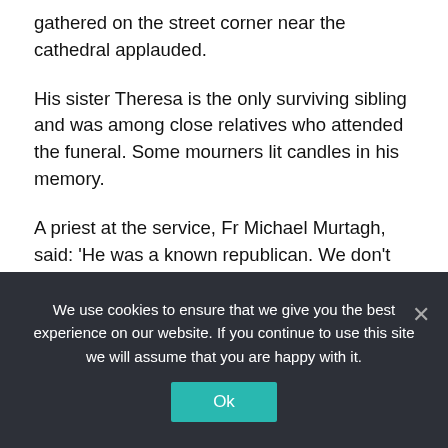gathered on the street corner near the cathedral applauded.
His sister Theresa is the only surviving sibling and was among close relatives who attended the funeral. Some mourners lit candles in his memory.
A priest at the service, Fr Michael Murtagh, said: 'He was a known republican. We don't deny it, nor do we glorify it, neither do we demonise it. We are not here to judge or condemn.'
He said nobody present wanted to add to the pain of many victims of the conflict over past decades.
We use cookies to ensure that we give you the best experience on our website. If you continue to use this site we will assume that you are happy with it.